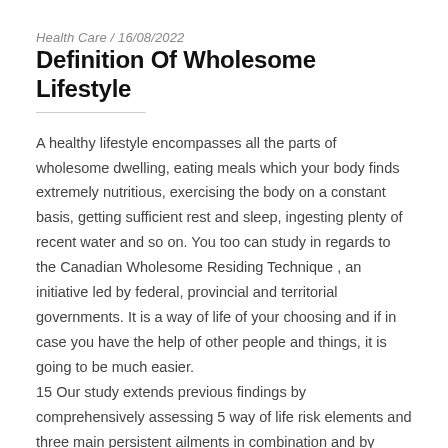Health Care / 16/08/2022
Definition Of Wholesome Lifestyle
A healthy lifestyle encompasses all the parts of wholesome dwelling, eating meals which your body finds extremely nutritious, exercising the body on a constant basis, getting sufficient rest and sleep, ingesting plenty of recent water and so on. You too can study in regards to the Canadian Wholesome Residing Technique , an initiative led by federal, provincial and territorial governments. It is a way of life of your choosing and if in case you have the help of other people and things, it is going to be much easier.
15 Our study extends previous findings by comprehensively assessing 5 way of life risk elements and three main persistent ailments in combination and by providing broader estimates of longevity and the number